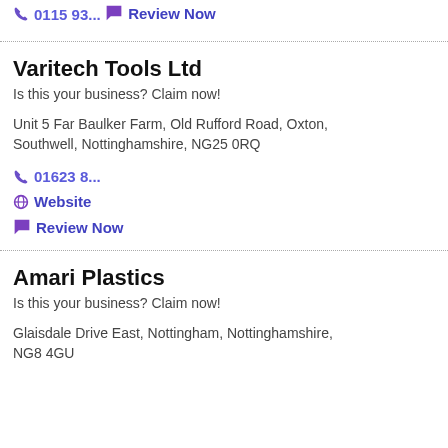0115 93...
Review Now
Varitech Tools Ltd
Is this your business? Claim now!
Unit 5 Far Baulker Farm, Old Rufford Road, Oxton, Southwell, Nottinghamshire, NG25 0RQ
01623 8...
Website
Review Now
Amari Plastics
Is this your business? Claim now!
Glaisdale Drive East, Nottingham, Nottinghamshire, NG8 4GU